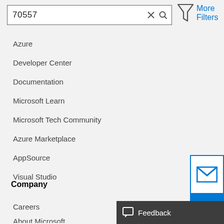[Figure (screenshot): Search bar with text '70557', X clear button, magnifier search icon]
More Filters
Azure
Developer Center
Documentation
Microsoft Learn
Microsoft Tech Community
Azure Marketplace
AppSource
Visual Studio
Company
Careers
About Microsoft
Company news
[Figure (screenshot): Email envelope icon widget (white background, blue border) with up-arrow icon on blue background]
[Figure (screenshot): Feedback button bar with speech bubble icon and 'Feedback' text on dark grey background]